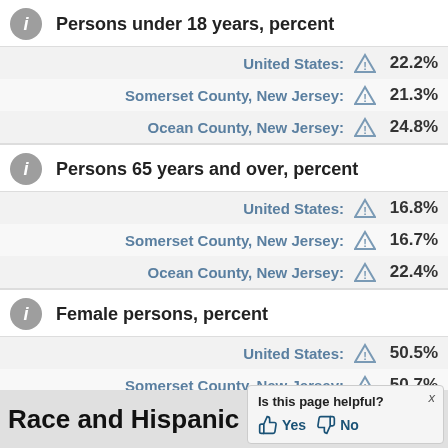Persons under 18 years, percent
United States: 22.2%
Somerset County, New Jersey: 21.3%
Ocean County, New Jersey: 24.8%
Persons 65 years and over, percent
United States: 16.8%
Somerset County, New Jersey: 16.7%
Ocean County, New Jersey: 22.4%
Female persons, percent
United States: 50.5%
Somerset County, New Jersey: 50.7%
Ocean County, New Jersey: 51.3%
Race and Hispanic Origin
Is this page helpful? Yes No